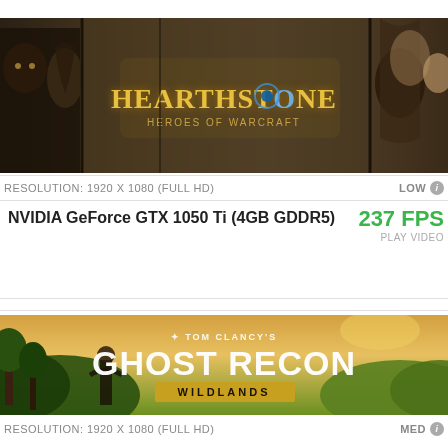[Figure (illustration): Hearthstone: Heroes of Warcraft game banner with dark fantasy character artwork and golden Hearthstone logo]
RESOLUTION: 1920 X 1080 (FULL HD)
LOW
NVIDIA GeForce GTX 1050 Ti (4GB GDDR5)
237 FPS
PLAY VIDEO
[Figure (illustration): Tom Clancy's Ghost Recon Wildlands game banner with jungle scenery and soldier character]
RESOLUTION: 1920 X 1080 (FULL HD)
MED